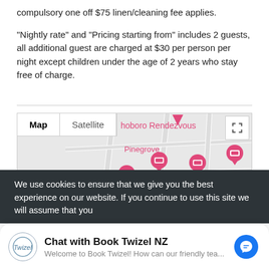compulsory one off $75 linen/cleaning fee applies.
“Nightly rate” and “Pricing starting from” includes 2 guests, all additional guest are charged at $30 per person per night except children under the age of 2 years who stay free of charge.
[Figure (map): Google-style map showing locations of Gladstone Cottage, Pinegrove, Book Twizel Ho Homes - Braem markers with Map/Satellite tab controls]
We use cookies to ensure that we give you the best experience on our website. If you continue to use this site we will assume that you
Chat with Book Twizel NZ
Welcome to Book Twizel! How can our friendly tea...